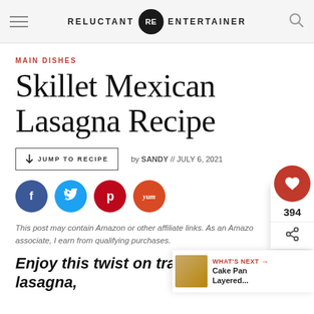RELUCTANT RE ENTERTAINER
MAIN DISHES
Skillet Mexican Lasagna Recipe
↓ JUMP TO RECIPE   by SANDY // JULY 6, 2021
[Figure (infographic): Social sharing icons: Facebook (blue), Twitter (light blue), Pinterest (red), Yummly (orange)]
This post may contain Amazon or other affiliate links. As an Amazon associate, I earn from qualifying purchases.
Enjoy this twist on traditional lasagna,